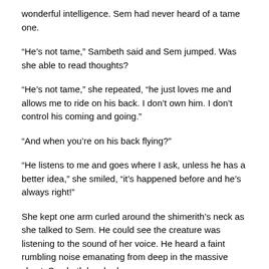wonderful intelligence. Sem had never heard of a tame one.
“He’s not tame,” Sambeth said and Sem jumped. Was she able to read thoughts?
“He’s not tame,” she repeated, “he just loves me and allows me to ride on his back. I don’t own him. I don’t control his coming and going.”
“And when you’re on his back flying?”
“He listens to me and goes where I ask, unless he has a better idea,” she smiled, “it’s happened before and he’s always right!”
She kept one arm curled around the shimerith’s neck as she talked to Sem. He could see the creature was listening to the sound of her voice. He heard a faint rumbling noise emanating from deep in the massive chest. Sambeth laughed.
“He’s happy,” she said laying her head against his lowered neck, “he’s